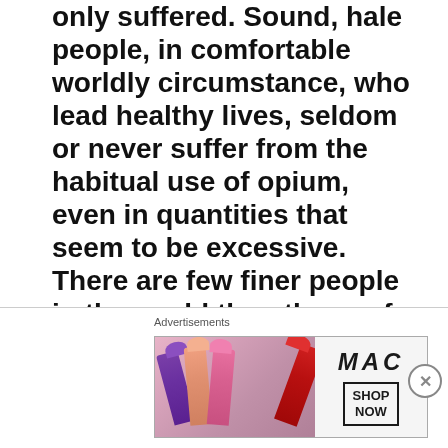only suffered. Sound, hale people, in comfortable worldly circumstance, who lead healthy lives, seldom or never suffer from the habitual use of opium, even in quantities that seem to be excessive. There are few finer people in the world than those of Goojerat, Kattywar, Cutch, and Central India, and they are all addicted to the habitual use of opium. In Rajpootana, high and low, rich and poor indulge in it, in the most alarming excess, measured by the
Advertisements
[Figure (photo): MAC cosmetics advertisement banner showing multiple lipsticks in purple, peach, pink, and red shades alongside the MAC wordmark logo and a 'SHOP NOW' button.]